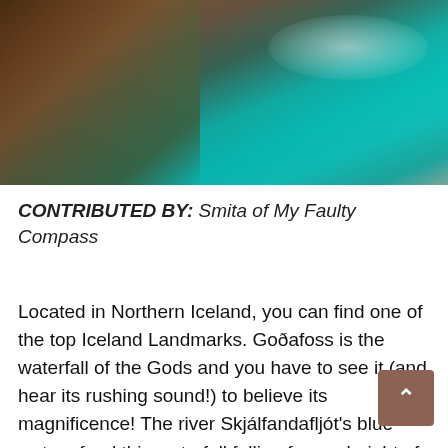[Figure (photo): Photograph of rocky coastal cliffs on the left with vivid turquoise/teal ocean water on the right, taken from above. Rocky brown and green mossy cliffs contrast sharply with the bright blue-green churning water.]
CONTRIBUTED BY: Smita of My Faulty Compass
Located in Northern Iceland, you can find one of the top Iceland Landmarks. Goðafoss is the waterfall of the Gods and you have to see it (and hear its rushing sound!) to believe its magnificence! The river Skjálfandafljót's blue waters feed this waterfall falling from a height of 12 meters.